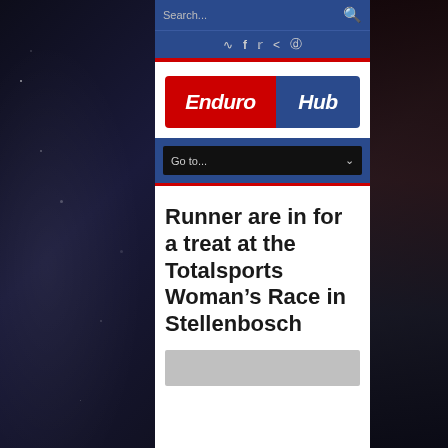Search...
[Figure (logo): EnduroHub logo with red background for Enduro text and blue background for Hub text]
[Figure (screenshot): Navigation dropdown selector labeled Go to...]
Runner are in for a treat at the Totalsports Woman’s Race in Stellenbosch
[Figure (photo): Gray placeholder image at bottom of page]